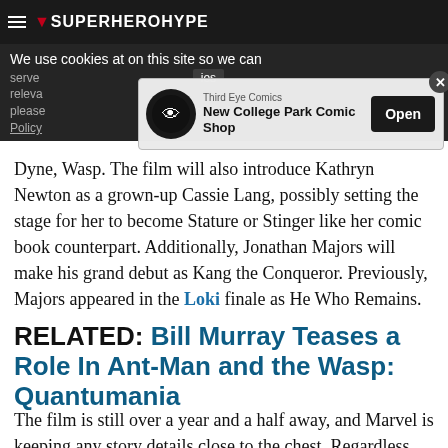SuperHeroHype
We use cookies at on this site so we can serve ... Cookie Information Policy
[Figure (screenshot): Ad overlay for Third Eye Comics New College Park Comic Shop with Open button]
Dyne, Wasp. The film will also introduce Kathryn Newton as a grown-up Cassie Lang, possibly setting the stage for her to become Stature or Stinger like her comic book counterpart. Additionally, Jonathan Majors will make his grand debut as Kang the Conqueror. Previously, Majors appeared in the Loki finale as He Who Remains.
RELATED: Bill Murray Teases a Role In Ant-Man and the Wasp: Quantumania
The film is still over a year and a half away, and Marvel is keeping any story details close to the chest. Regardless, the title indicates a return to the Quantum Realm, which